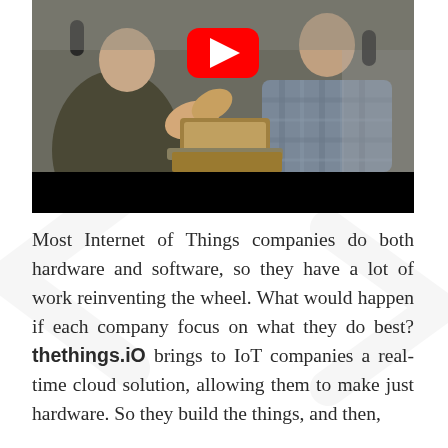[Figure (screenshot): YouTube video thumbnail showing two people in an interview setting with microphones, one person gesturing with hands, a laptop on a small table between them. A YouTube play button overlay is shown in the center-top area. The bottom portion of the video player is black.]
Most Internet of Things companies do both hardware and software, so they have a lot of work reinventing the wheel. What would happen if each company focus on what they do best? thethings.iO brings to IoT companies a real-time cloud solution, allowing them to make just hardware. So they build the things, and then, thethings.iO...